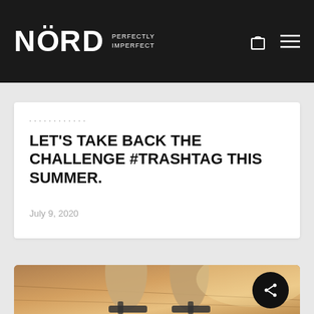NÖRD PERFECTLY IMPERFECT
LET'S TAKE BACK THE CHALLENGE #TRASHTAG THIS SUMMER.
July 9, 2020
[Figure (photo): Close-up photo of person's feet wearing dark flip-flop sandals on a paved surface, with warm golden/sunset lighting in the background.]